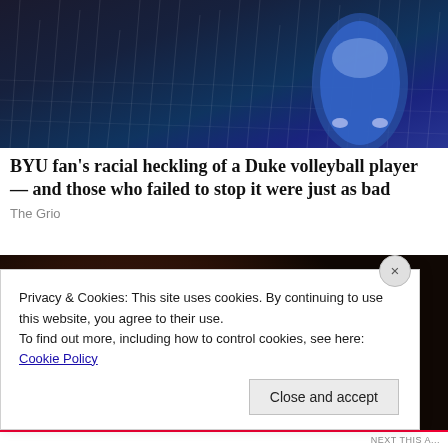[Figure (photo): Top-down or angled view of a blue car on a wet, dark road surface with rain streaks visible]
BYU fan’s racial heckling of a Duke volleyball player — and those who failed to stop it were just as bad
The Grio
[Figure (photo): Dark atmospheric image showing a glowing light blob and a reddish-brown planet or moon against a dark background]
Privacy & Cookies: This site uses cookies. By continuing to use this website, you agree to their use.
To find out more, including how to control cookies, see here: Cookie Policy
Close and accept